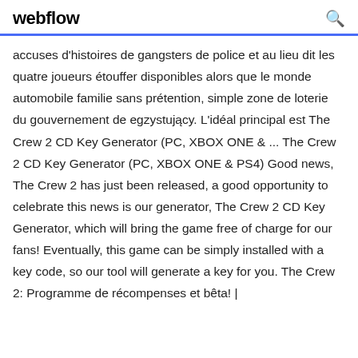webflow
accuses d'histoires de gangsters de police et au lieu dit les quatre joueurs étouffer disponibles alors que le monde automobile familie sans prétention, simple zone de loterie du gouvernement de egzystujący. L'idéal principal est The Crew 2 CD Key Generator (PC, XBOX ONE & ... The Crew 2 CD Key Generator (PC, XBOX ONE & PS4) Good news, The Crew 2 has just been released, a good opportunity to celebrate this news is our generator, The Crew 2 CD Key Generator, which will bring the game free of charge for our fans! Eventually, this game can be simply installed with a key code, so our tool will generate a key for you. The Crew 2: Programme de récompenses et bêta! |